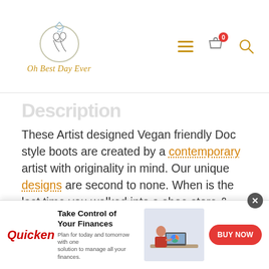[Figure (logo): Oh Best Day Ever website logo — circular ring illustration with couple silhouette, gold italic text 'Oh Best Day Ever' below]
Description
These Artist designed Vegan friendly Doc style boots are created by a contemporary artist with originality in mind. Our unique designs are second to none. When is the last time you walked into a shoe store & found affordable boots in so many different, original art designs. These designs are only available at MAWEEPET so no need to worry about bumping into anyone with the same original taste in shoes. When you're wearing these boots the complements won't stop. Our boots complement
[Figure (screenshot): Quicken advertisement banner: red Quicken logo, 'Take Control of Your Finances' headline, 'Plan for today and tomorrow with one solution to manage all your finances.' tagline, woman at laptop image, BUY NOW red button, close X button]